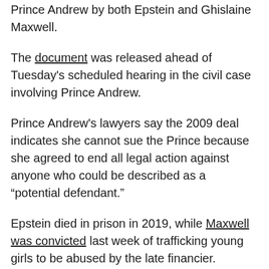Prince Andrew by both Epstein and Ghislaine Maxwell.
The document was released ahead of Tuesday's scheduled hearing in the civil case involving Prince Andrew.
Prince Andrew's lawyers say the 2009 deal indicates she cannot sue the Prince because she agreed to end all legal action against anyone who could be described as a “potential defendant.”
Epstein died in prison in 2019, while Maxwell was convicted last week of trafficking young girls to be abused by the late financier.
However, Giuffre’s legal team says the Florida settlement terms are irrelevant to her case against the Prince.